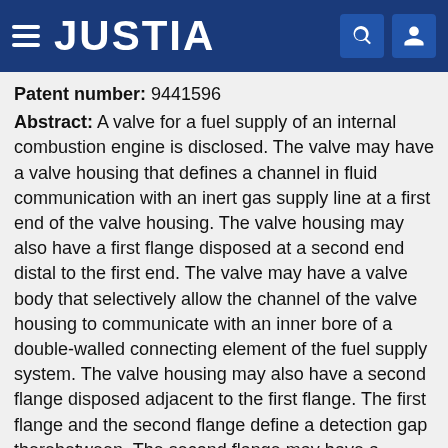JUSTIA
Patent number: 9441596
Abstract: A valve for a fuel supply of an internal combustion engine is disclosed. The valve may have a valve housing that defines a channel in fluid communication with an inert gas supply line at a first end of the valve housing. The valve housing may also have a first flange disposed at a second end distal to the first end. The valve may have a valve body that selectively allow the channel of the valve housing to communicate with an inner bore of a double-walled connecting element of the fuel supply system. The valve housing may also have a second flange disposed adjacent to the first flange. The first flange and the second flange define a detection gap therebetween. The second flange may have a passage in fluid communication with a detection space of the double-walled connecting element and the detection gap